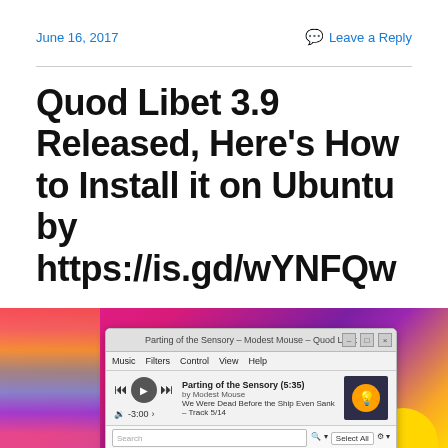June 16, 2017    Leave a Reply
Quod Libet 3.9 Released, Here's How to Install it on Ubuntu by https://is.gd/wYNFQw
[Figure (screenshot): Screenshot of Quod Libet 3.9 music player showing Parting of the Sensory by Modest Mouse selected, with playlist showing People and Album panels]